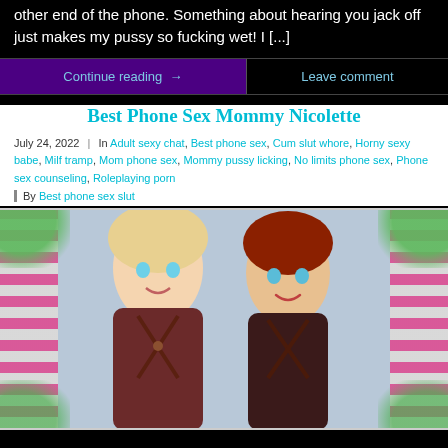other end of the phone. Something about hearing you jack off just makes my pussy so fucking wet! I [...]
Continue reading →    Leave comment
Best Phone Sex Mommy Nicolette
July 24, 2022 | In Adult sexy chat, Best phone sex, Cum slut whore, Horny sexy babe, Milf tramp, Mom phone sex, Mommy pussy licking, No limits phone sex, Phone sex counseling, Roleplaying porn | By Best phone sex slut
[Figure (photo): Two women posing together, one blonde and one redhead, against a pink striped background with floral decorations on the sides.]